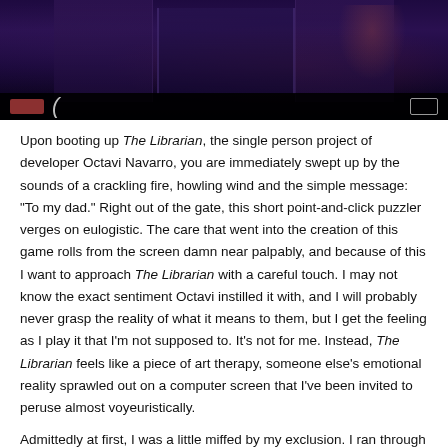[Figure (screenshot): Screenshot from the game The Librarian showing a dark purple/indigo interior room scene with ornate wooden paneling, a doorway, and atmospheric lighting. Below the game image is a dark control bar with a red/brown rectangle button on the left, a parenthesis character, and a small box icon on the right.]
Upon booting up The Librarian, the single person project of developer Octavi Navarro, you are immediately swept up by the sounds of a crackling fire, howling wind and the simple message: "To my dad." Right out of the gate, this short point-and-click puzzler verges on eulogistic. The care that went into the creation of this game rolls from the screen damn near palpably, and because of this I want to approach The Librarian with a careful touch. I may not know the exact sentiment Octavi instilled it with, and I will probably never grasp the reality of what it means to them, but I get the feeling as I play it that I'm not supposed to. It's not for me. Instead, The Librarian feels like a piece of art therapy, someone else's emotional reality sprawled out on a computer screen that I've been invited to peruse almost voyeuristically.
Admittedly at first, I was a little miffed by my exclusion. I ran through the game twice, culminating in thirty minutes of total